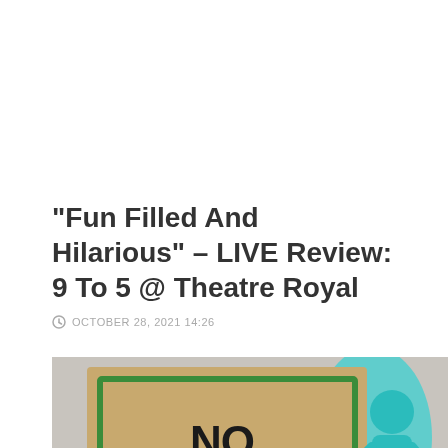“Fun Filled And Hilarious” – LIVE Review: 9 To 5 @ Theatre Royal
OCTOBER 28, 2021 14:26
[Figure (photo): A cardboard sign with the words NO BUSINESS written in large dark letters with a green border, held up in a protest or demonstration scene, with a teal/turquoise figure visible in the background.]